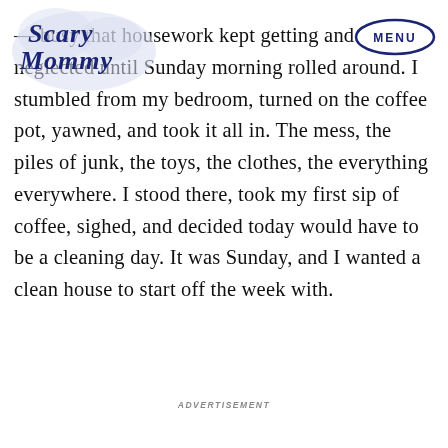[Figure (logo): Scary Mommy website logo in dark navy blue script lettering]
[Figure (other): MENU button in an oval outline, top right corner]
busy that housework kept getting and neglected until Sunday morning rolled around. I stumbled from my bedroom, turned on the coffee pot, yawned, and took it all in. The mess, the piles of junk, the toys, the clothes, the everything everywhere. I stood there, took my first sip of coffee, sighed, and decided today would have to be a cleaning day. It was Sunday, and I wanted a clean house to start off the week with.
ADVERTISEMENT